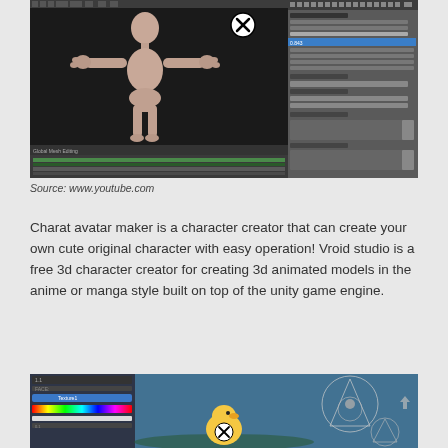[Figure (screenshot): Blender 3D software screenshot showing a T-posed humanoid character model in the viewport with animation timeline at bottom and properties panel on the right. A circled X icon is visible in the upper portion of the 3D viewport.]
Source: www.youtube.com
Charat avatar maker is a character creator that can create your own cute original character with easy operation! Vroid studio is a free 3d character creator for creating 3d animated models in the anime or manga style built on top of the unity game engine.
[Figure (screenshot): Character creator software screenshot showing colorful character editing interface with color palette on the left panel and a 3D character model in the center with geometric helper overlays. A circled X icon is visible.]